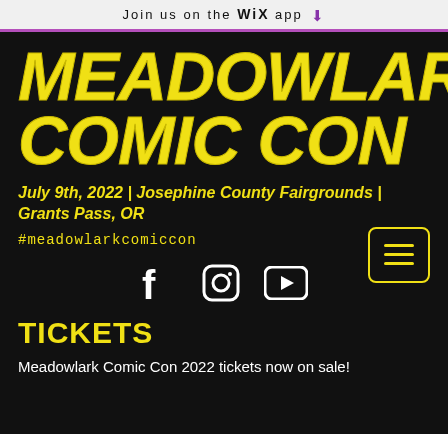Join us on the WiX app
MEADOWLARK COMIC CON
July 9th, 2022 | Josephine County Fairgrounds | Grants Pass, OR
#meadowlarkcomiccon
[Figure (infographic): Social media icons: Facebook, Instagram, YouTube]
TICKETS
Meadowlark Comic Con 2022 tickets now on sale!